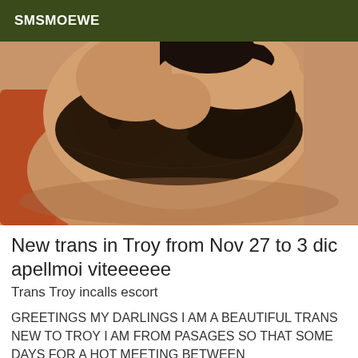SMSMOEWE
[Figure (photo): Close-up photo of a person wearing a dark brown/black bra, torso visible against a warm tan/brown background with an orange cushion visible on the left side.]
New trans in Troy from Nov 27 to 3 dic apellmoi viteeeeee
Trans Troy incalls escort
GREETINGS MY DARLINGS I AM A BEAUTIFUL TRANS NEW TO TROY I AM FROM PASAGES SO THAT SOME DAYS FOR A HOT MEETING BETWEEN